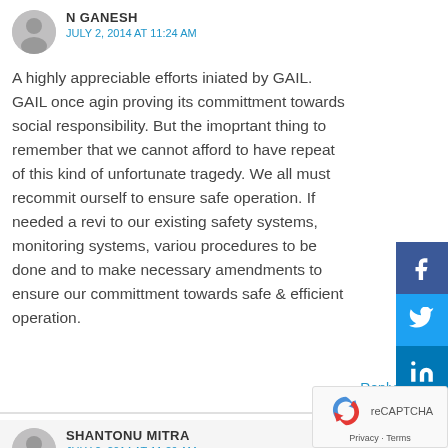N GANESH
JULY 2, 2014 AT 11:24 AM
A highly appreciable efforts iniated by GAIL. GAIL once agin proving its committment towards social responsibility. But the imoprtant thing to remember that we cannot afford to have repeat of this kind of unfortunate tragedy. We all must recommit ourself to ensure safe operation. If needed a revi to our existing safety systems, monitoring systems, variou procedures to be done and to make necessary amendments to ensure our committment towards safe & efficient operation.
Reply
SHANTONU MITRA
JULY 2, 2014 AT 11:29 AM